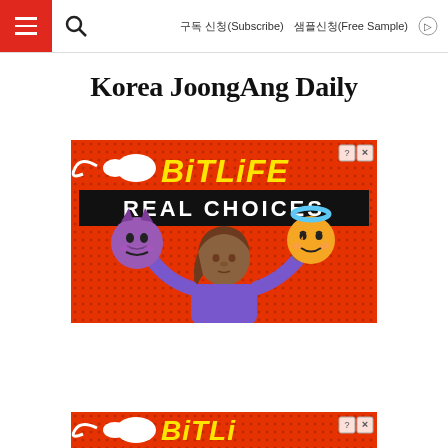구독 신청(Subscribe)   샘플신청(Free Sample)
Korea JoongAng Daily
[Figure (illustration): BitLife app advertisement banner with red dotted background, BitLife logo in yellow italic text with a sperm emoji icon, 'REAL CHOICES' text in white on black bar, a cartoon woman with brown skin and purple shirt holding a purple devil emoji face on the left and an angel emoji face on the right]
[Figure (illustration): Second BitLife advertisement banner (partially visible at bottom), same red dotted background with BitLife logo in yellow text, partially cropped]